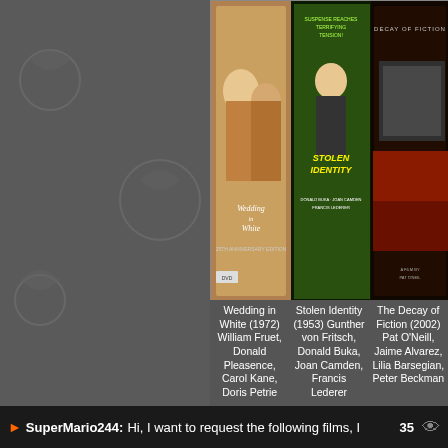[Figure (screenshot): Screenshot of a film browsing interface showing movie posters and titles. Top row: Wedding in White (1972), Stolen Identity (1953), The Decay of Fiction (2002). Bottom row: The Angelic Conversation, A Terrible Beauty (1960), Sharon: Portrait of a Mistress. Bottom bar shows a comment from SuperMario244 with text and a count of 35.]
Wedding in White (1972) William Fruet, Donald Pleasence, Carol Kane, Doris Petrie
Stolen Identity (1953) Gunther von Fritsch, Donald Buka, Joan Camden, Francis Lederer
The Decay of Fiction (2002) Pat O'Neill, Jaime Alvarez, Lilia Barsegian, Peter Beckman
A Terrible Beauty (1960)
SuperMario244: Hi, I want to request the following films, I   35